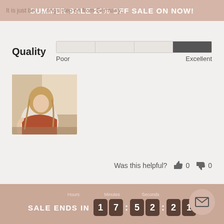SUMMER SALE 20% OFF SALE ON NOW!
It is just be... ...rings step on from Germany.
Quality   Poor   Excellent
[Figure (photo): Thumbnail photo of a woman wearing a terracotta/rust colored top]
Was this helpful? 0  0
Erica H.
Verified Buyer
Reviewing
NOOSA TOP - TERRA
SALE ENDS IN 1 7 : 5 2 : 2 1